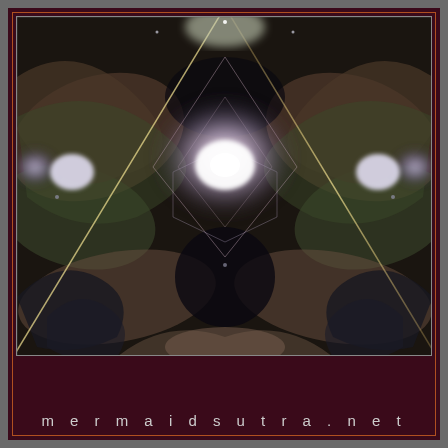[Figure (illustration): A symmetrical, kaleidoscopic digital art image featuring glowing light formations in shades of purple, white, green, and brown. The composition has a central diamond/star shape made of bright light with crossing diagonal lines (X pattern). The image has bilateral symmetry with ornate, organic swirling patterns radiating outward. The overall mood is mystical and ethereal.]
mermaidsutra.net